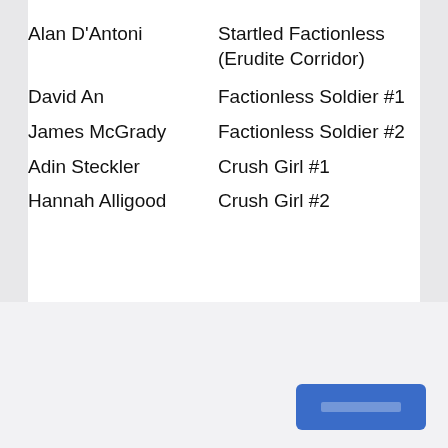| Actor | Role |
| --- | --- |
| Alan D'Antoni | Startled Factionless (Erudite Corridor) |
| David An | Factionless Soldier #1 |
| James McGrady | Factionless Soldier #2 |
| Adin Steckler | Crush Girl #1 |
| Hannah Alligood | Crush Girl #2 |
[Figure (screenshot): Dialog overlay bottom section with close button (×), two placeholder text fields, and a blue button with placeholder label text]